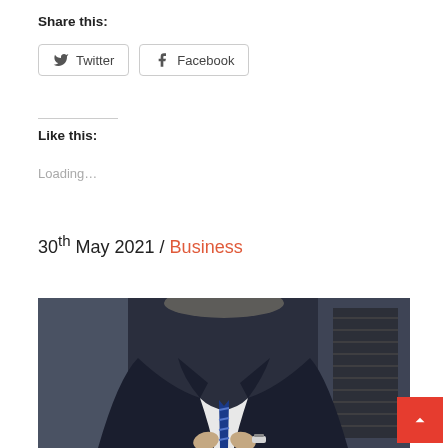Share this:
Twitter
Facebook
Like this:
Loading...
30th May 2021 / Business
[Figure (photo): A man in a dark business suit with a blue striped tie, buttoning his jacket, photographed from chest up in an indoor setting with an escalator visible in the background.]